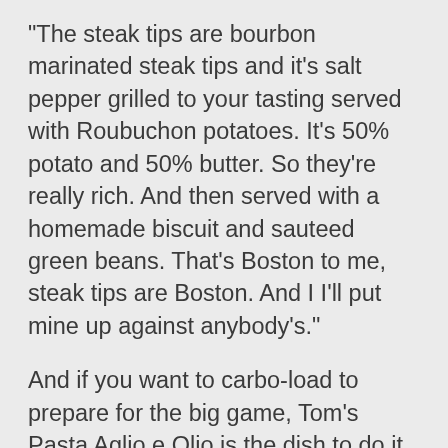“The steak tips are bourbon marinated steak tips and it’s salt pepper grilled to your tasting served with Roubuchon potatoes. It’s 50% potato and 50% butter. So they’re really rich. And then served with a homemade biscuit and sauteed green beans. That’s Boston to me, steak tips are Boston.  And I I’ll put mine up against anybody’s.”
And if you want to carbo-load to prepare for the big game, Tom’s Pasta Aglio e Olio is the dish to do it with.
“It’s a spaghetti pasta…tossed with fire roasted cherry tomatoes, toasted pine nuts, olive oil, garlic, that’s the alio e olio and a little bit of shaved Parmesan